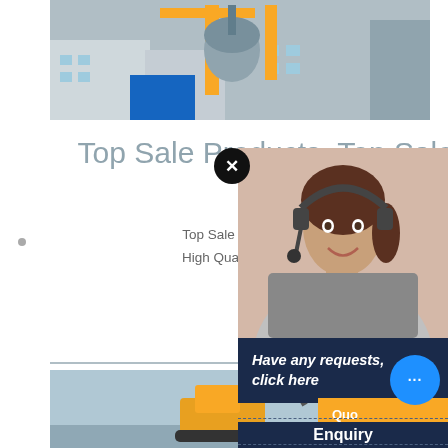[Figure (photo): Industrial facility with yellow cranes, silos, and factory buildings]
Top Sale Products, Top Sale Products direct from Sha
Top Sale Products from Shanghai Clirik Machinery C... High Quality Top Sale Products Manufacturing and E... on Alibaba.
CHAT ONLINE
[Figure (photo): Woman with headset (customer service representative)]
Have any requests, click here
Que
Enquiry
limingjlmofen @sina.com
[Figure (photo): Construction equipment and vehicles on a worksite]